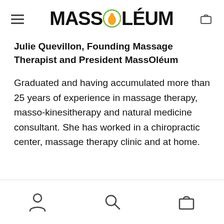MASSOLÉUM
Julie Quevillon, Founding Massage Therapist and President MassOléum
Graduated and having accumulated more than 25 years of experience in massage therapy, masso-kinesitherapy and natural medicine consultant. She has worked in a chiropractic center, massage therapy clinic and at home.